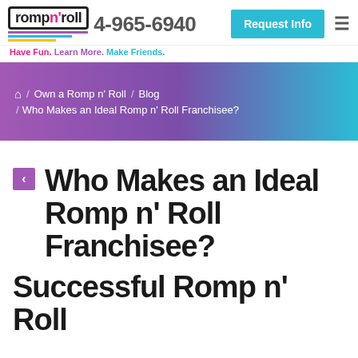romp n' roll | 4-965-6940 | Request Info
Have Fun. Learn More. Make Friends.
/ Own a Romp n' Roll / Blog / Who Makes an Ideal Romp n' Roll Franchisee?
Who Makes an Ideal Romp n' Roll Franchisee?
Successful Romp n' Roll